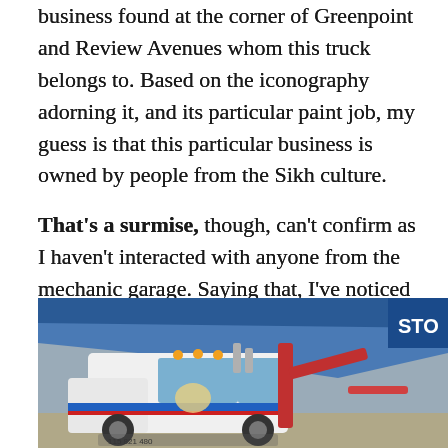business found at the corner of Greenpoint and Review Avenues whom this truck belongs to. Based on the iconography adorning it, and its particular paint job, my guess is that this particular business is owned by people from the Sikh culture.
That's a surmise, though, can't confirm as I haven't interacted with anyone from the mechanic garage. Saying that, I've noticed medallions hanging off the mirror, and other little cues, that I've learned to associate with the Sikh.
[Figure (photo): A white tow truck with blue and red accents parked under or near a blue awning/overhang structure. The truck has decorative iconography on it and equipment mounted in the back.]